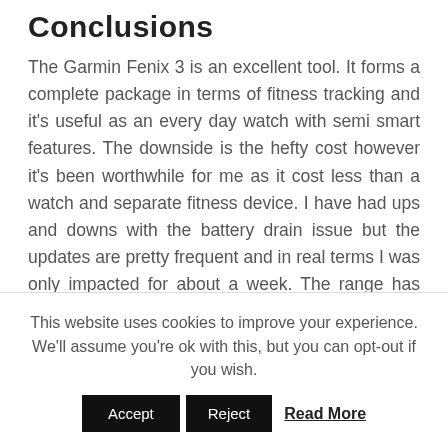Conclusions
The Garmin Fenix 3 is an excellent tool. It forms a complete package in terms of fitness tracking and it's useful as an every day watch with semi smart features. The downside is the hefty cost however it's been worthwhile for me as it cost less than a watch and separate fitness device. I have had ups and downs with the battery drain issue but the updates are pretty frequent and in real terms I was only impacted for about a week. The range has expanded since I bought mine to include models with wrist based MIO heart rate sensors but the word is that the accuracy, while good, still does
This website uses cookies to improve your experience. We'll assume you're ok with this, but you can opt-out if you wish. Accept Reject Read More